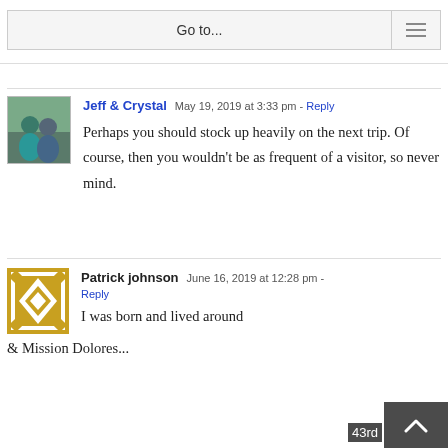Go to...
Jeff & Crystal  May 19, 2019 at 3:33 pm - Reply
Perhaps you should stock up heavily on the next trip. Of course, then you wouldn't be as frequent of a visitor, so never mind.
Patrick johnson  June 16, 2019 at 12:28 pm - Reply
I was born and lived around 43rd & Mission Dolores...